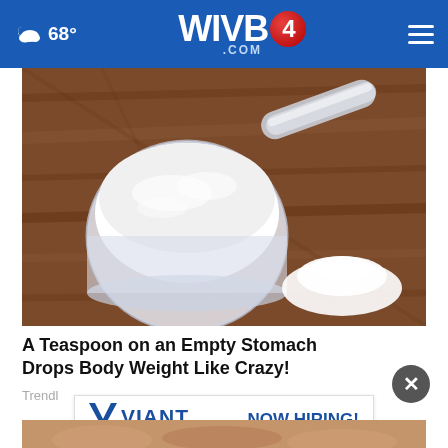68° WIVB4.COM
[Figure (photo): A plastic measuring scoop filled with white powder on a rustic wooden surface, with a small pile of white powder beside it]
A Teaspoon on an Empty Stomach Drops Body Weight Like Crazy!
Trendl
[Figure (logo): Viant - We're in it for life. NOW HIRING! advertisement banner]
[Figure (photo): Partial bottom image visible]